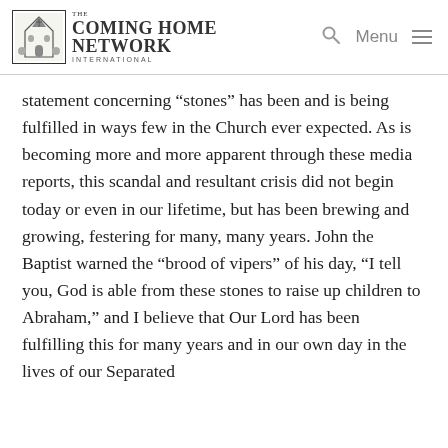The Coming Home Network International | Menu
statement concerning “stones” has been and is being fulfilled in ways few in the Church ever expected. As is becoming more and more apparent through these media reports, this scandal and resultant crisis did not begin today or even in our lifetime, but has been brewing and growing, festering for many, many years. John the Baptist warned the “brood of vipers” of his day, “I tell you, God is able from these stones to raise up children to Abraham,” and I believe that Our Lord has been fulfilling this for many years and in our own day in the lives of our Separated